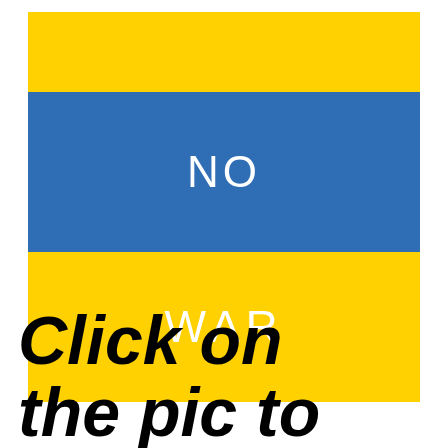[Figure (illustration): Ukrainian flag colors (blue and yellow horizontal bands) with text NO WAR overlaid in white]
Click on the pic to